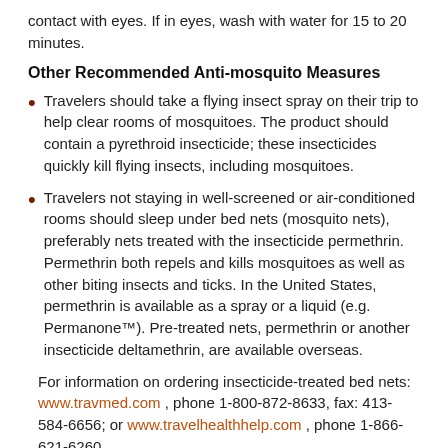contact with eyes. If in eyes, wash with water for 15 to 20 minutes.
Other Recommended Anti-mosquito Measures
Travelers should take a flying insect spray on their trip to help clear rooms of mosquitoes. The product should contain a pyrethroid insecticide; these insecticides quickly kill flying insects, including mosquitoes.
Travelers not staying in well-screened or air-conditioned rooms should sleep under bed nets (mosquito nets), preferably nets treated with the insecticide permethrin. Permethrin both repels and kills mosquitoes as well as other biting insects and ticks. In the United States, permethrin is available as a spray or a liquid (e.g. Permanone™). Pre-treated nets, permethrin or another insecticide deltamethrin, are available overseas.
For information on ordering insecticide-treated bed nets: www.travmed.com , phone 1-800-872-8633, fax: 413-584-6656; or www.travelhealthhelp.com , phone 1-866-621-6260.